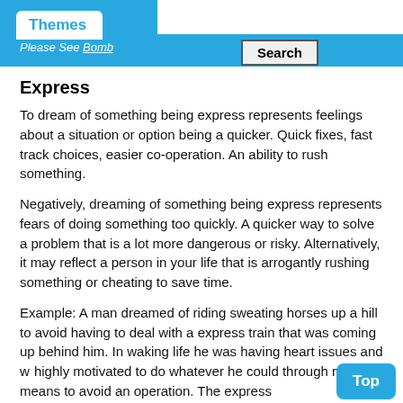Themes
Please See Bomb
Express
To dream of something being express represents feelings about a situation or option being a quicker. Quick fixes, fast track choices, easier co-operation. An ability to rush something.
Negatively, dreaming of something being express represents fears of doing something too quickly. A quicker way to solve a problem that is a lot more dangerous or risky. Alternatively, it may reflect a person in your life that is arrogantly rushing something or cheating to save time.
Example: A man dreamed of riding sweating horses up a hill to avoid having to deal with a express train that was coming up behind him. In waking life he was having heart issues and was highly motivated to do whatever he could through natural means to avoid an operation. The express